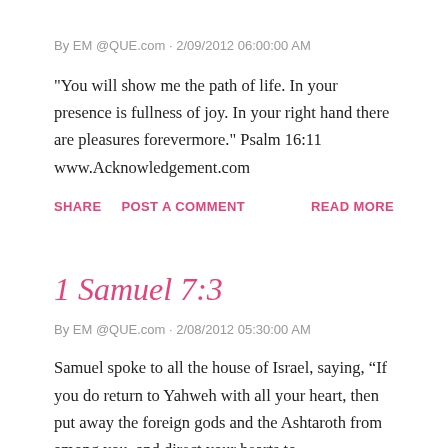By EM @QUE.com · 2/09/2012 06:00:00 AM
"You will show me the path of life. In your presence is fullness of joy. In your right hand there are pleasures forevermore." Psalm 16:11 www.Acknowledgement.com
SHARE   POST A COMMENT   READ MORE
1 Samuel 7:3
By EM @QUE.com · 2/08/2012 05:30:00 AM
Samuel spoke to all the house of Israel, saying, “If you do return to Yahweh with all your heart, then put away the foreign gods and the Ashtaroth from among you, and direct your hearts to